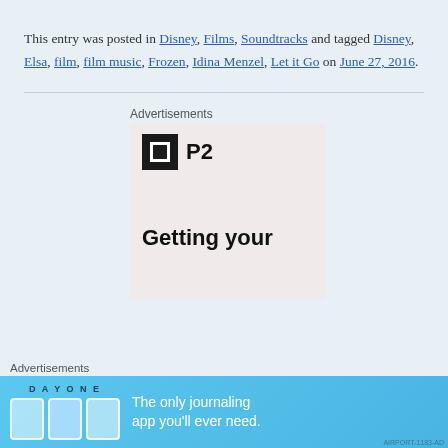This entry was posted in Disney, Films, Soundtracks and tagged Disney, Elsa, film, film music, Frozen, Idina Menzel, Let it Go on June 27, 2016.
Advertisements
[Figure (other): Advertisement box with P2 logo and 'Getting your' text on pinkish background]
Advertisements
[Figure (other): Day One app advertisement: 'The only journaling app you'll ever need.' on blue background with icons]